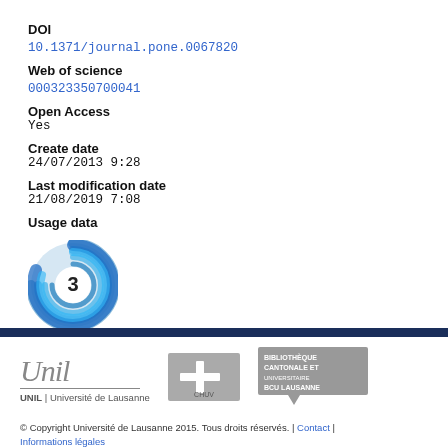DOI
10.1371/journal.pone.0067820
Web of science
000323350700041
Open Access
Yes
Create date
24/07/2013 9:28
Last modification date
21/08/2019 7:08
Usage data
[Figure (infographic): Circular usage data badge showing the number 3, styled with concentric blue rings in a swirling pattern]
UNIL | Université de Lausanne
© Copyright Université de Lausanne 2015. Tous droits réservés. | Contact | Informations légales